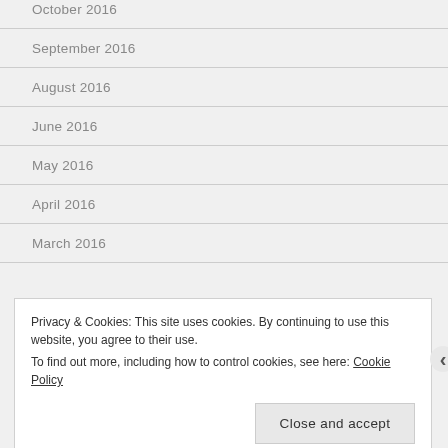October 2016
September 2016
August 2016
June 2016
May 2016
April 2016
March 2016
Privacy & Cookies: This site uses cookies. By continuing to use this website, you agree to their use.
To find out more, including how to control cookies, see here: Cookie Policy
Close and accept